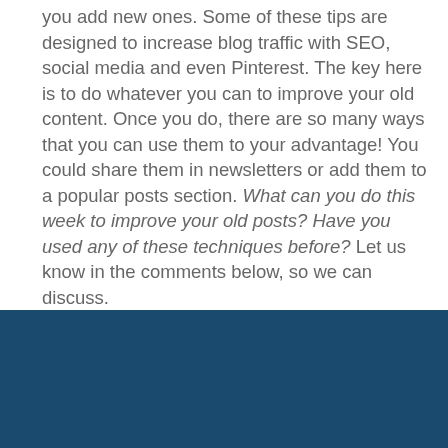you add new ones. Some of these tips are designed to increase blog traffic with SEO, social media and even Pinterest. The key here is to do whatever you can to improve your old content. Once you do, there are so many ways that you can use them to your advantage! You could share them in newsletters or add them to a popular posts section. What can you do this week to improve your old posts? Have you used any of these techniques before? Let us know in the comments below, so we can discuss.